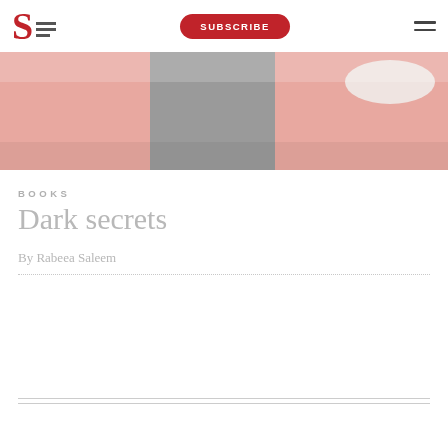S [logo] | SUBSCRIBE | [menu]
[Figure (photo): Cropped photo of a person wearing a pink and grey top with a white lace collar, soft muted tones]
BOOKS
Dark secrets
By Rabeea Saleem